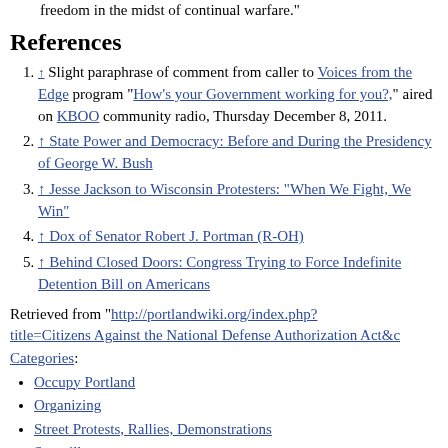freedom in the midst of continual warfare."
References
↑ Slight paraphrase of comment from caller to Voices from the Edge program "How's your Government working for you?," aired on KBOO community radio, Thursday December 8, 2011.
↑ State Power and Democracy: Before and During the Presidency of George W. Bush
↑ Jesse Jackson to Wisconsin Protesters: “When We Fight, We Win”
↑ Dox of Senator Robert J. Portman (R-OH)
↑ Behind Closed Doors: Congress Trying to Force Indefinite Detention Bill on Americans
Retrieved from "http://portlandwiki.org/index.php?title=Citizens Against the National Defense Authorization Act&c
Categories:
Occupy Portland
Organizing
Street Protests, Rallies, Demonstrations
Surveillance